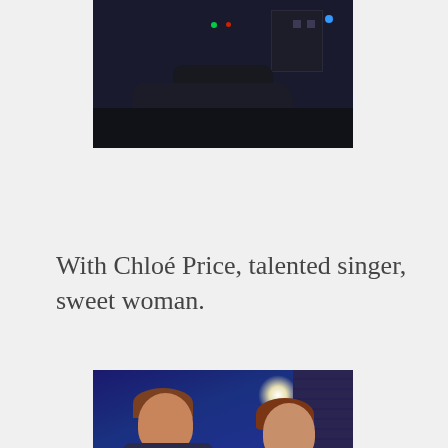[Figure (photo): Nighttime scene with a dark car on a street, traffic lights visible in the background]
With Chloé Price, talented singer, sweet woman.
[Figure (photo): Two people posing together for a photo, a man and a woman, with stage lighting in the background including a bright spotlight]